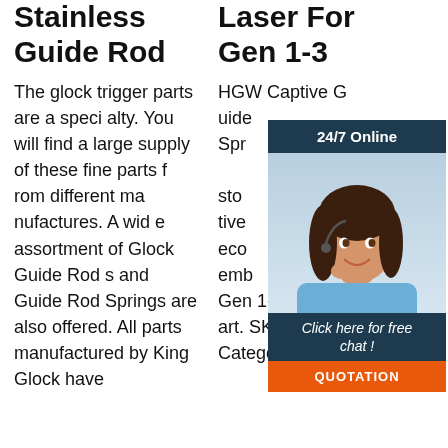Stainless Guide Rod
The glock trigger parts are a specialty. You will find a large supply of these fine parts from different manufactures. A wide assortment of Glock Guide Rods and Guide Rod Springs are also offered. All parts manufactured by King Glock have
Laser For Gen 1-3
HGW Captive Guide Spring for Gen 1-3 stock active eco emb 19 G19 Gen 1-3 quantity. Add to cart. SKU: HGW-19Recoil Categories: Guide Rod,
[Figure (infographic): Customer service chat widget with agent photo, '24/7 Online' header, 'Click here for free chat!' text, and orange QUOTATION button]